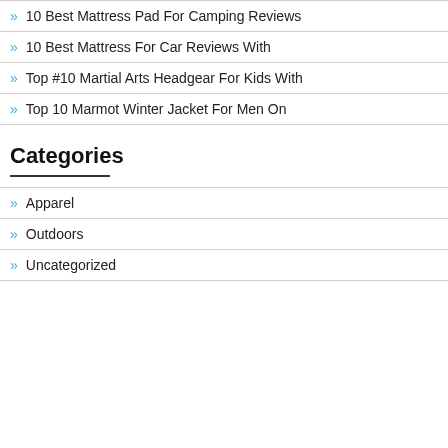10 Best Mattress Pad For Camping Reviews
10 Best Mattress For Car Reviews With
Top #10 Martial Arts Headgear For Kids With
Top 10 Marmot Winter Jacket For Men On
Categories
Apparel
Outdoors
Uncategorized